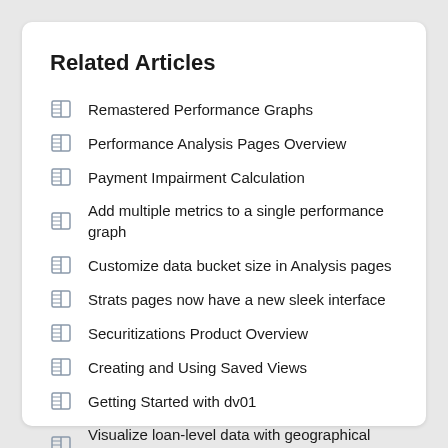Related Articles
Remastered Performance Graphs
Performance Analysis Pages Overview
Payment Impairment Calculation
Add multiple metrics to a single performance graph
Customize data bucket size in Analysis pages
Strats pages now have a new sleek interface
Securitizations Product Overview
Creating and Using Saved Views
Getting Started with dv01
Visualize loan-level data with geographical maps